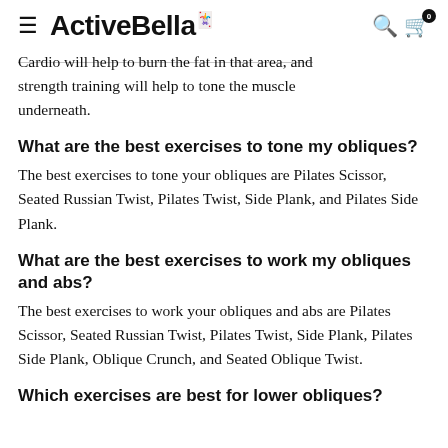ActiveBella
Cardio will help to burn the fat in that area, and strength training will help to tone the muscle underneath.
What are the best exercises to tone my obliques?
The best exercises to tone your obliques are Pilates Scissor, Seated Russian Twist, Pilates Twist, Side Plank, and Pilates Side Plank.
What are the best exercises to work my obliques and abs?
The best exercises to work your obliques and abs are Pilates Scissor, Seated Russian Twist, Pilates Twist, Side Plank, Pilates Side Plank, Oblique Crunch, and Seated Oblique Twist.
Which exercises are best for lower obliques?